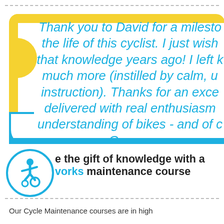Thank you to David for a milestone the life of this cyclist. I just wish that knowledge years ago! I left knowing much more (instilled by calm, understanding instruction). Thanks for an excellent course delivered with real enthusiasm and understanding of bikes - and of cyclists. George
[Figure (illustration): Wheelchair/cycling accessibility icon inside a blue circle]
Give the gift of knowledge with a Bikeworks maintenance course
Our Cycle Maintenance courses are in high